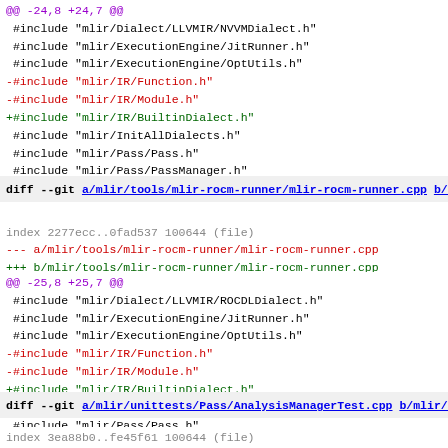@@ -24,8 +24,7 @@
 #include "mlir/Dialect/LLVMIR/NVVMDialect.h"
 #include "mlir/ExecutionEngine/JitRunner.h"
 #include "mlir/ExecutionEngine/OptUtils.h"
-#include "mlir/IR/Function.h"
-#include "mlir/IR/Module.h"
+#include "mlir/IR/BuiltinDialect.h"
 #include "mlir/InitAllDialects.h"
 #include "mlir/Pass/Pass.h"
 #include "mlir/Pass/PassManager.h"
diff --git a/mlir/tools/mlir-rocm-runner/mlir-rocm-runner.cpp b/mlir/tools/mlir-rocm-runner/mlir-rocm-runner.cpp
index 2277ecc..0fad537 100644 (file)
--- a/mlir/tools/mlir-rocm-runner/mlir-rocm-runner.cpp
+++ b/mlir/tools/mlir-rocm-runner/mlir-rocm-runner.cpp
@@ -25,8 +25,7 @@
 #include "mlir/Dialect/LLVMIR/ROCDLDialect.h"
 #include "mlir/ExecutionEngine/JitRunner.h"
 #include "mlir/ExecutionEngine/OptUtils.h"
-#include "mlir/IR/Function.h"
-#include "mlir/IR/Module.h"
+#include "mlir/IR/BuiltinDialect.h"
 #include "mlir/InitAllDialects.h"
 #include "mlir/Pass/Pass.h"
 #include "mlir/Pass/PassManager.h"
diff --git a/mlir/unittests/Pass/AnalysisManagerTest.cpp b/mlir/unittests/Pass/AnalysisManagerTest.cpp
index 3ea88b0..fe45f61 100644 (file)
--- a/mlir/unittests/Pass/AnalysisManagerTest.cpp